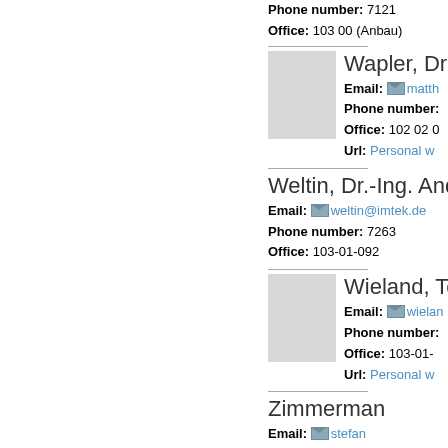Phone number: 7121
Office: 103 00 (Anbau)
Wapler, Dr. M...
Email: matth...
Phone number: ...
Office: 102 02 0...
Url: Personal w...
Weltin, Dr.-Ing. Andreas
Email: weltin@imtek.de
Phone number: 7263
Office: 103-01-092
Wieland, Tob...
Email: wielan...
Phone number: ...
Office: 103-01-...
Url: Personal w...
Zimmerman...
Email: stefan...
Phone number: ...
Office: 103 02 1...
Url: Personal w...